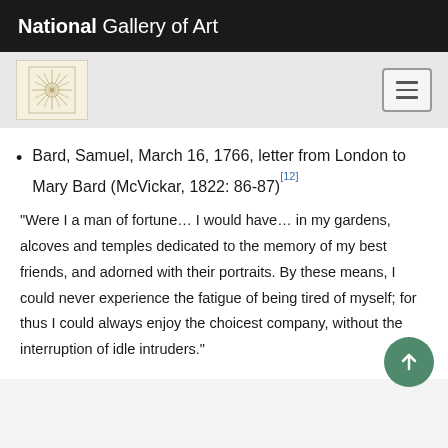National Gallery of Art
Bard, Samuel, March 16, 1766, letter from London to Mary Bard (McVickar, 1822: 86-87)[12]
"Were I a man of fortune… I would have… in my gardens, alcoves and temples dedicated to the memory of my best friends, and adorned with their portraits. By these means, I could never experience the fatigue of being tired of myself; for thus I could always enjoy the choicest company, without the interruption of idle intruders."